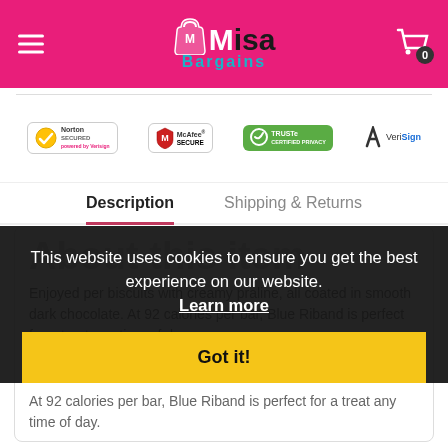Misa Bargains
[Figure (logo): Security trust badges: Norton Secured, McAfee Secure, TRUSTe Certified Privacy, VeriSign]
Description | Shipping & Returns
About this item
Enjoyed per biscuits with creamy praline, all coated in smooth dark chocolate. At 92 calories per bar, Blue Riband is perfect for a treat any time of day.
At 92 calories per bar, Blue Riband is perfect for a treat any time of day.
This website uses cookies to ensure you get the best experience on our website. Learn more
Got it!